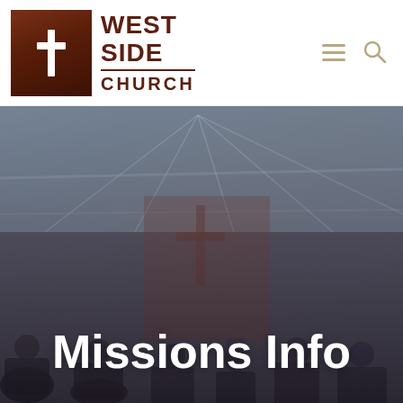[Figure (logo): West Side Church logo: dark reddish-brown square with white cross, beside bold text 'WEST SIDE CHURCH' in dark red with horizontal divider line]
[Figure (photo): Interior photo of a church gathering space, dimly lit with visible ceiling trusses. People visible in foreground (bottom of image). Dark overlay applied. White bold text 'Missions Info' overlaid at bottom center.]
Missions Info